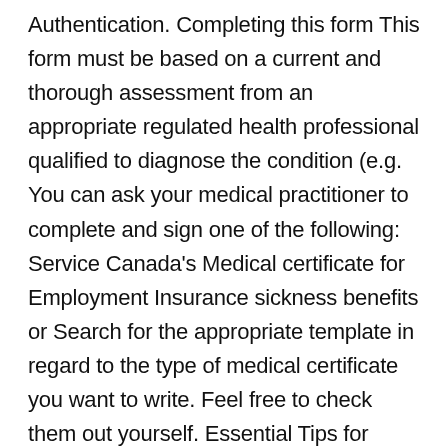Authentication. Completing this form This form must be based on a current and thorough assessment from an appropriate regulated health professional qualified to diagnose the condition (e.g. You can ask your medical practitioner to complete and sign one of the following: Service Canada's Medical certificate for Employment Insurance sickness benefits or Search for the appropriate template in regard to the type of medical certificate you want to write. Feel free to check them out yourself. Essential Tips for Using Medical Certificate Format or Templates. Certificate of Appreciation for Employees, Gift Certificate: Sample Wording & Content, Dinner for Two Gift Certificate Templates, Marriage Certificate Template – 11+ for Word & PDF, Printable Halloween Gift Certificate Templates, Blank Halloween Gift Certificate Templates.